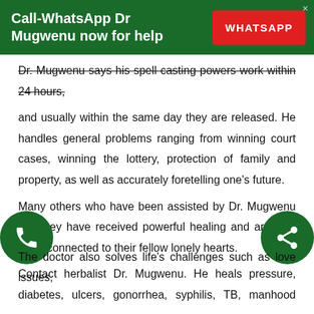Call-WhatsApp Dr Mugwenu now for help
Dr. Mugwenu says his spell casting powers work within 24 hours, and usually within the same day they are released. He handles general problems ranging from winning court cases, winning the lottery, protection of family and property, as well as accurately foretelling one's future.
Many others who have been assisted by Dr. Mugwenu say they have received powerful healing and are now more connected to their fellow lonely hearts.
Contact herbalist Dr. Mugwenu. He heals pressure, diabetes, ulcers, gonorrhea, syphilis, TB, manhood weakness among other th...
The doctor also solves life's challenges such as love issues,